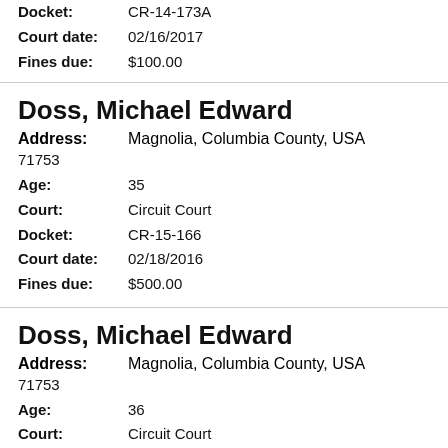Docket: CR-14-173A
Court date: 02/16/2017
Fines due: $100.00
Doss, Michael Edward
Address: Magnolia, Columbia County, USA 71753
Age: 35
Court: Circuit Court
Docket: CR-15-166
Court date: 02/18/2016
Fines due: $500.00
Doss, Michael Edward
Address: Magnolia, Columbia County, USA 71753
Age: 36
Court: Circuit Court
Docket: CR-15-166A
Court date: 02/16/2017
Fines due: $170.00
Doss, Michael Edward